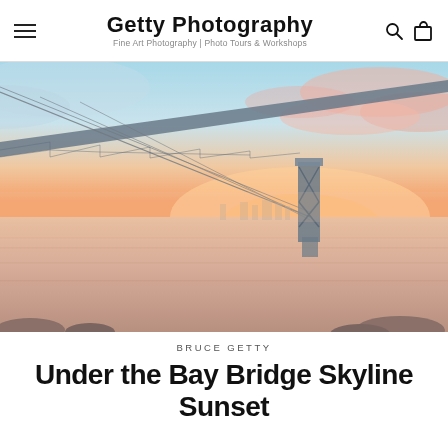Getty Photography — Fine Art Photography | Photo Tours & Workshops
[Figure (photo): Wide-angle photograph taken from under the San Francisco Bay Bridge at sunset, showing the bridge structure diagonally across the frame with warm pink, orange and blue sky, calm water reflecting the colors, and the San Francisco skyline visible in the background distance.]
BRUCE GETTY
Under the Bay Bridge Skyline Sunset